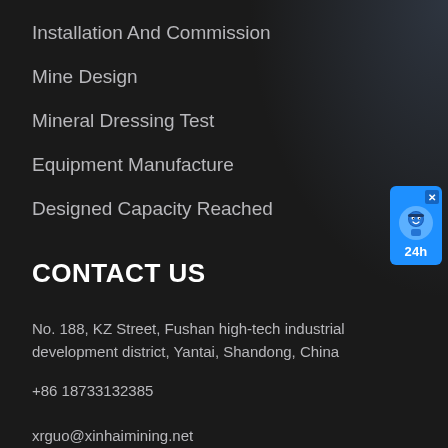Installation And Commission
Mine Design
Mineral Dressing Test
Equipment Manufacture
Designed Capacity Reached
CONTACT US
No. 188, KZ Street, Fushan high-tech industrial development district, Yantai, Shandong, China
+86 18733132385
xrguo@xinhaimining.net
[Figure (illustration): Live chat widget button with avatar icon and '24h' label on blue background with close X button]